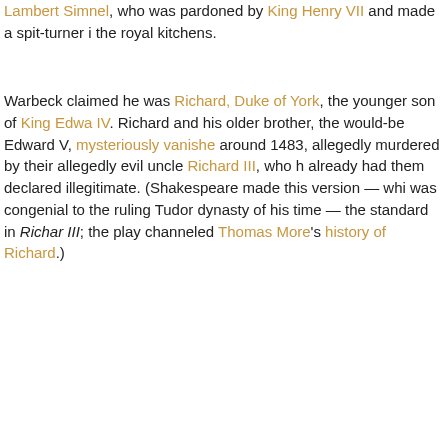Lambert Simnel, who was pardoned by King Henry VII and made a spit-turner in the royal kitchens.
Warbeck claimed he was Richard, Duke of York, the younger son of King Edward IV. Richard and his older brother, the would-be Edward V, mysteriously vanished around 1483, allegedly murdered by their allegedly evil uncle Richard III, who had already had them declared illegitimate. (Shakespeare made this version — which was congenial to the ruling Tudor dynasty of his time — the standard in Richard III; the play channeled Thomas More's history of Richard.)